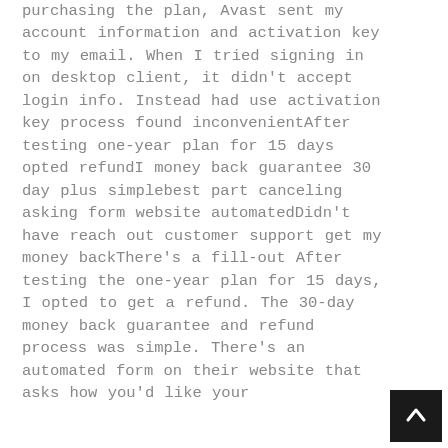purchasing the plan, Avast sent my account information and activation key to my email. When I tried signing in on desktop client, it didn't accept login info. Instead had use activation key process found inconvenientAfter testing one-year plan for 15 days opted refundI money back guarantee 30 day plus simplebest part canceling asking form website automatedDidn't have reach out customer support get my money backThere's a fill-out After testing the one-year plan for 15 days, I opted to get a refund. The 30-day money back guarantee and refund process was simple. There's an automated form on their website that asks how you'd like your